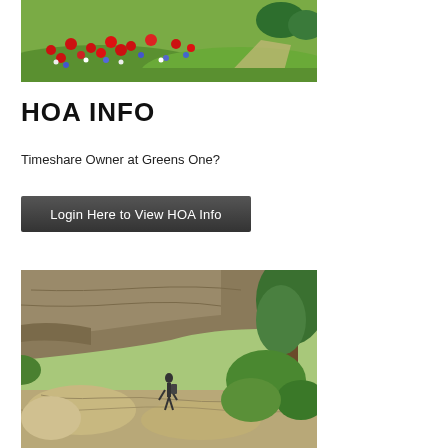[Figure (photo): Colorful wildflower meadow with red poppies, blue and white wildflowers on green grass in sunlight]
HOA INFO
ONLINE HOA INFO ACCESS
Timeshare Owner at Greens One?
Login Here to View HOA Info
[Figure (photo): Rocky canyon trail with a person hiking under overhanging rock ledge with green ferns and a tree on the right]